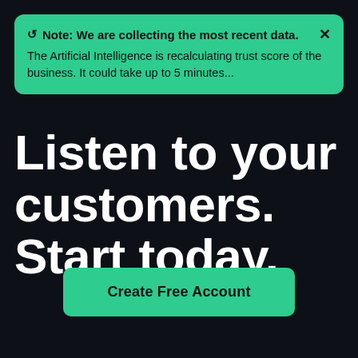🔄 Note: We are collecting the most recent data. The Artificial Intelligence is recalculating trust score of the business. It could take up to 5 minutes...
Listen to your customers. Start today.
Create Free Account